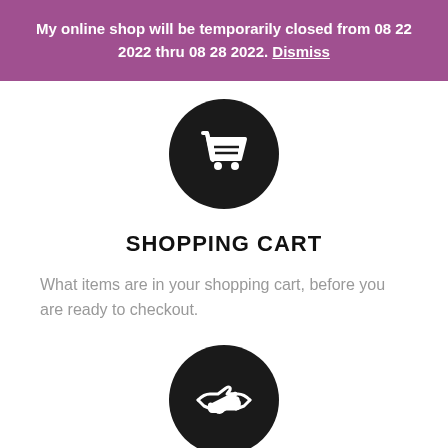My online shop will be temporarily closed from 08 22 2022 thru 08 28 2022. Dismiss
[Figure (illustration): Shopping cart icon in white on a black circle background]
SHOPPING CART
What items are in your shopping cart, before you are ready to checkout.
[Figure (illustration): Handshake icon in white on a black circle background]